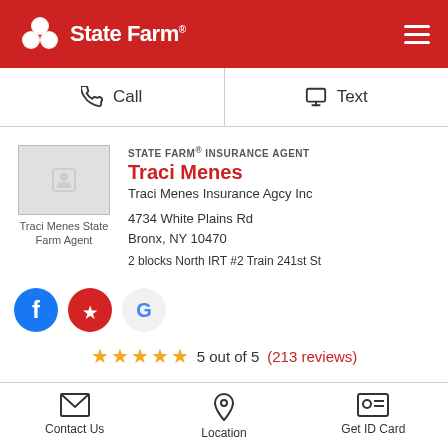[Figure (logo): State Farm logo with three ovals icon and State Farm wordmark on red background]
Call
Text
[Figure (photo): Traci Menes State Farm Agent photo placeholder]
STATE FARM® INSURANCE AGENT
Traci Menes
Traci Menes Insurance Agcy Inc
4734 White Plains Rd
Bronx, NY 10470
2 blocks North IRT #2 Train 241st St
[Figure (infographic): Social media icons: Facebook (blue circle with f), Yelp (red circle with Yelp icon), Google (grey circle with G)]
5 out of 5  (213 reviews)
Contact Us
Location
Get ID Card